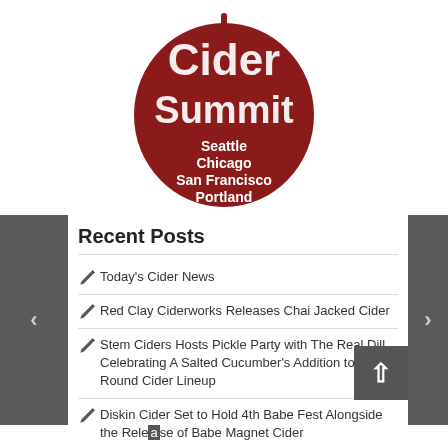[Figure (logo): Cider Summit logo — dark red apple shape with white distressed text reading 'Cider Summit' and below 'Seattle Chicago San Francisco Portland']
Recent Posts
Today's Cider News
Red Clay Ciderworks Releases Chai Jacked Cider
Stem Ciders Hosts Pickle Party with The Real Dill Celebrating A Salted Cucumber's Addition to Year-Round Cider Lineup
Diskin Cider Set to Hold 4th Babe Fest Alongside the Release of Babe Magnet Cider
Seattle Cider Summit Welcomes Back Festival Goers this